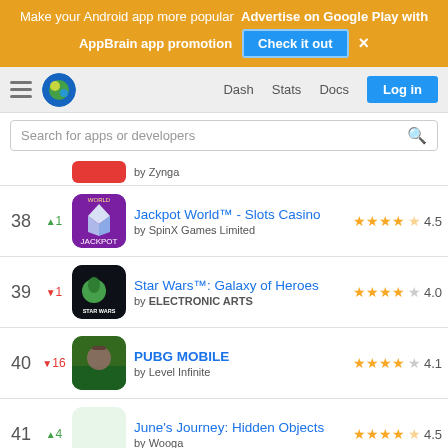Make your Android app more popular  Advertise on Google Play with AppBrain app promotion  Check it out  ×
Dash  Stats  Docs  Log in
Search for apps or developers
38  ▲1  Jackpot World™ - Slots Casino  by SpinX Games Limited  ★★★★½  4.5
39  ▼1  Star Wars™: Galaxy of Heroes  by ELECTRONIC ARTS  ★★★★  4.0
40  ▼16  PUBG MOBILE  by Level Infinite  ★★★★  4.1
41  ▲4  June's Journey: Hidden Objects  by Wooga  ★★★★½  4.5
42  ▼15  Golf Clash  by ELECTRONIC ARTS  ★★★★½  4.2
43  new  Project Makeover  by Magic Tavern, Inc.  ★★★★½  4.3